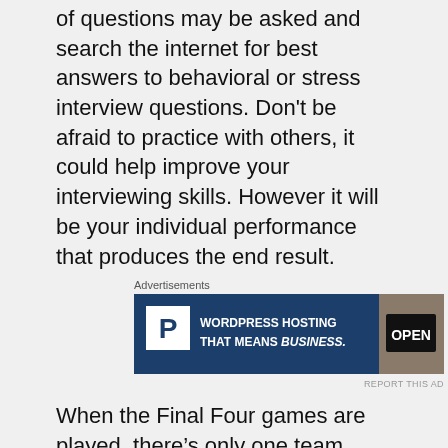of questions may be asked and search the internet for best answers to behavioral or stress interview questions. Don’t be afraid to practice with others, it could help improve your interviewing skills. However it will be your individual performance that produces the end result.
[Figure (other): Advertisement banner for WordPress Hosting with 'P' logo and OPEN sign photo, text: WORDPRESS HOSTING THAT MEANS BUSINESS.]
When the Final Four games are played, there’s only one team from the NCAA Men’s & Women’s Tournament that can win each year. In a way, you could say it’s just like a typical job search, where only one candidate is hired. However that’s where